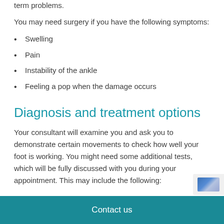term problems.
You may need surgery if you have the following symptoms:
Swelling
Pain
Instability of the ankle
Feeling a pop when the damage occurs
Diagnosis and treatment options
Your consultant will examine you and ask you to demonstrate certain movements to check how well your foot is working. You might need some additional tests, which will be fully discussed with you during your appointment. This may include the following:
Contact us